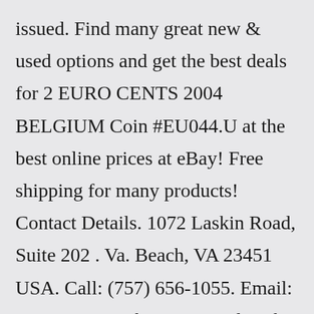issued. Find many great new & used options and get the best deals for 2 EURO CENTS 2004 BELGIUM Coin #EU044.U at the best online prices at eBay! Free shipping for many products! Contact Details. 1072 Laskin Road, Suite 202 . Va. Beach, VA 23451 USA. Call: (757) 656-1055. Email: support@greysheet.com Today, the 2004 1 oz American Gold Eagle coin is available to purchase from JM Bullion. Coin Highlights: